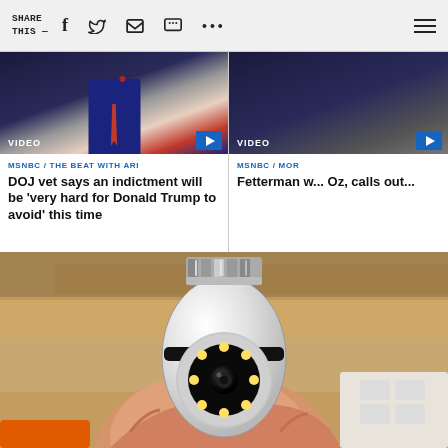SHARE THIS —
[Figure (screenshot): MSNBC video thumbnail showing a person in a dark suit with red tie, VIDEO label with blue play button]
MSNBC / THE BEAT WITH ARI
DOJ vet says an indictment will be 'very hard for Donald Trump to avoid' this time
[Figure (screenshot): MSNBC video thumbnail (partially visible), VIDEO label with blue play button]
MSNBC / MOR
Fetterman w... Oz, calls out...
[Figure (photo): A hand holding a white light-bulb shaped security camera with a circular lens surrounded by LED lights and a metal screw base at top]